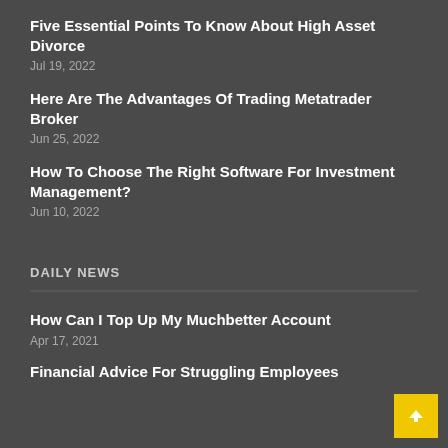Five Essential Points To Know About High Asset Divorce
Jul 19, 2022
Here Are The Advantages Of Trading Metatrader Broker
Jun 25, 2022
How To Choose The Right Software For Investment Management?
Jun 10, 2022
DAILY NEWS
How Can I Top Up My Muchbetter Account
Apr 17, 2021
Financial Advice For Struggling Employees